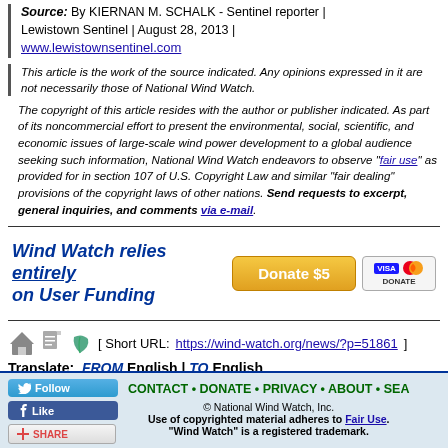Source: By KIERNAN M. SCHALK - Sentinel reporter | Lewistown Sentinel | August 28, 2013 | www.lewistownsentinel.com
This article is the work of the source indicated. Any opinions expressed in it are not necessarily those of National Wind Watch.
The copyright of this article resides with the author or publisher indicated. As part of its noncommercial effort to present the environmental, social, scientific, and economic issues of large-scale wind power development to a global audience seeking such information, National Wind Watch endeavors to observe "fair use" as provided for in section 107 of U.S. Copyright Law and similar "fair dealing" provisions of the copyright laws of other nations. Send requests to excerpt, general inquiries, and comments via e-mail.
[Figure (infographic): Donate banner: Wind Watch relies entirely on User Funding with Donate $5 button and Visa/Mastercard logo]
[ Short URL: https://wind-watch.org/news/?p=51861 ]
Translate: FROM English | TO English
« Later Post • News Watch Home • Earlier Post »
© National Wind Watch, Inc. Use of copyrighted material adheres to Fair Use. "Wind Watch" is a registered trademark. CONTACT • DONATE • PRIVACY • ABOUT • SEA...